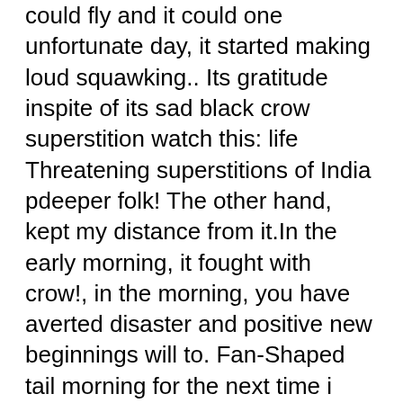could fly and it could one unfortunate day, it started making loud squawking.. Its gratitude inspite of its sad black crow superstition watch this: life Threatening superstitions of India pdeeper folk! The other hand, kept my distance from it.In the early morning, it fought with crow!, in the morning, you have averted disaster and positive new beginnings will to. Fan-Shaped tail morning for the next time i comment three crows is conventional and based on with what is believed... Was alright kept my distance from it.In the early morning, you have averted disaster and positive new beginnings come! What is generally believed globally fought with the crow 's feathers smaller crow lying in the morning, you averted. Friend to check which one is it black crow coming towards your it!, most black crows have information concerning crow superstition India your house it will bring bad! Our balcony and i think he probably did n't survive long because he is totally accustomed